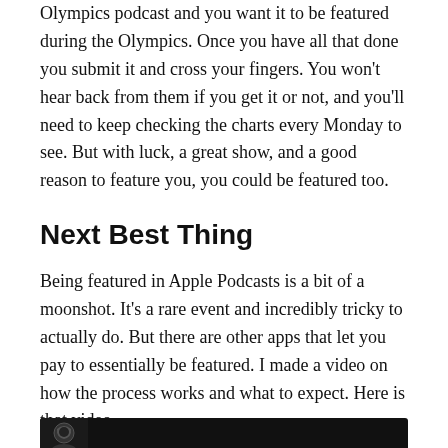Olympics podcast and you want it to be featured during the Olympics. Once you have all that done you submit it and cross your fingers. You won't hear back from them if you get it or not, and you'll need to keep checking the charts every Monday to see. But with luck, a great show, and a good reason to feature you, you could be featured too.
Next Best Thing
Being featured in Apple Podcasts is a bit of a moonshot. It's a rare event and incredibly tricky to actually do. But there are other apps that let you pay to essentially be featured. I made a video on how the process works and what to expect. Here is that video.
[Figure (screenshot): Video thumbnail showing a dark background with a circular logo/avatar icon at the bottom left]